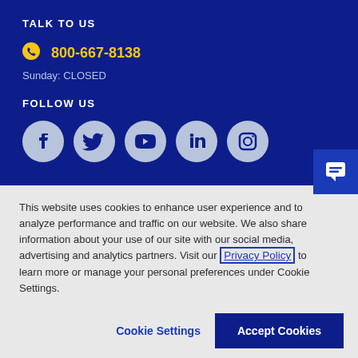TALK TO US
800-667-8138
Sunday: CLOSED
FOLLOW US
[Figure (illustration): Social media icons in circles: Facebook, Twitter, YouTube, LinkedIn, Instagram]
This website uses cookies to enhance user experience and to analyze performance and traffic on our website. We also share information about your use of our site with our social media, advertising and analytics partners. Visit our Privacy Policy to learn more or manage your personal preferences under Cookie Settings.
Cookie Settings
Accept Cookies